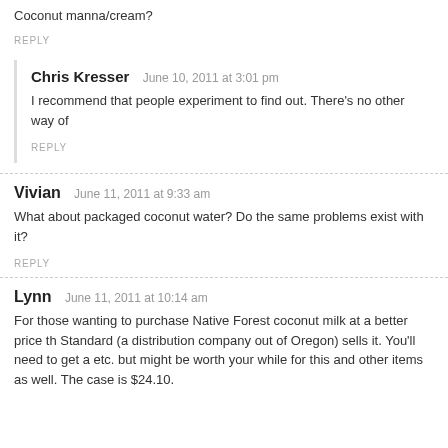Coconut manna/cream?
REPLY
Chris Kresser   June 10, 2011 at 3:01 pm
I recommend that people experiment to find out. There's no other way of
REPLY
Vivian   June 11, 2011 at 9:33 am
What about packaged coconut water? Do the same problems exist with it?
REPLY
Lynn   June 11, 2011 at 10:14 am
For those wanting to purchase Native Forest coconut milk at a better price th Standard (a distribution company out of Oregon) sells it. You'll need to get a etc. but might be worth your while for this and other items as well. The case is $24.10.